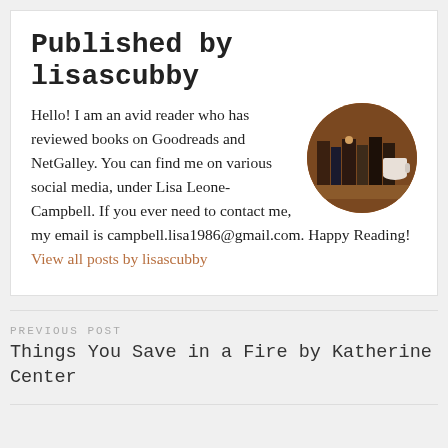Published by lisascubby
[Figure (photo): Circular profile photo showing a bookshelf with books and a white mug in warm brown tones]
Hello! I am an avid reader who has reviewed books on Goodreads and NetGalley. You can find me on various social media, under Lisa Leone-Campbell. If you ever need to contact me, my email is campbell.lisa1986@gmail.com. Happy Reading! View all posts by lisascubby
PREVIOUS POST
Things You Save in a Fire by Katherine Center